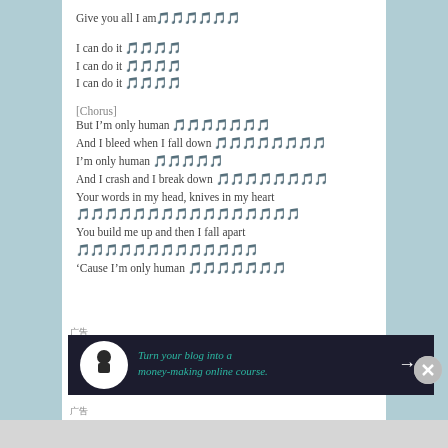Give you all I am 🎵🎵🎵🎵🎵🎵
I can do it 🎵🎵🎵🎵
I can do it 🎵🎵🎵🎵
I can do it 🎵🎵🎵🎵
[Chorus]
But I'm only human 🎵🎵🎵🎵🎵🎵🎵
And I bleed when I fall down 🎵🎵🎵🎵🎵🎵🎵🎵
I'm only human 🎵🎵🎵🎵🎵
And I crash and I break down 🎵🎵🎵🎵🎵🎵🎵🎵
Your words in my head, knives in my heart 🎵🎵🎵🎵🎵🎵🎵🎵🎵🎵🎵🎵🎵🎵🎵🎵
You build me up and then I fall apart 🎵🎵🎵🎵🎵🎵🎵🎵🎵🎵🎵🎵🎵
'Cause I'm only human 🎵🎵🎵🎵🎵🎵🎵
[Figure (infographic): Advertisement banner: dark background with white circle icon (tree/person silhouette), teal text 'Turn your blog into a money-making online course.' with white arrow]
广告
广告